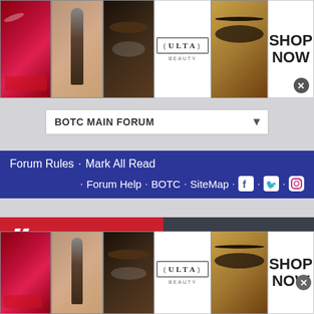[Figure (screenshot): Top ULTA Beauty advertisement banner with makeup imagery (lips, brush, eye, ULTA logo, eye, Shop Now button)]
[Figure (screenshot): Dropdown menu showing BOTC MAIN FORUM with dropdown arrow]
[Figure (screenshot): Forum navigation bar in dark blue with links: Forum Rules, Mark All Read, Forum Help, BOTC, SiteMap, and social media icons]
[Figure (screenshot): Downstream manufacturing & outfitters advertisement banner with red and dark sections and dsoutfitters social media handle]
[Figure (screenshot): Bottom ULTA Beauty advertisement banner with makeup imagery (lips, brush, eye, ULTA logo, eye, Shop Now button)]